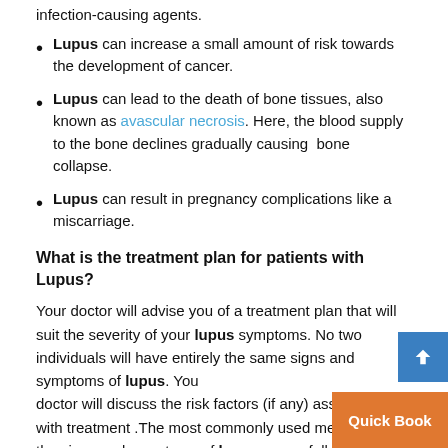Lupus can increase a small amount of risk towards the development of cancer.
Lupus can lead to the death of bone tissues, also known as avascular necrosis. Here, the blood supply to the bone declines gradually causing bone collapse.
Lupus can result in pregnancy complications like a miscarriage.
What is the treatment plan for patients with Lupus?
Your doctor will advise you of a treatment plan that will suit the severity of your lupus symptoms. No two individuals will have entirely the same signs and symptoms of lupus. Your doctor will discuss the risk factors (if any) associated with treatment .The most commonly used medications the signs and symptoms of lupus are as follows: